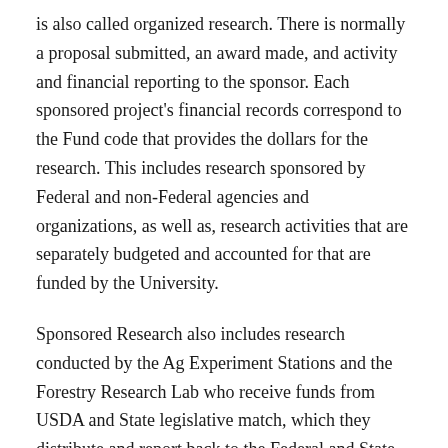is also called organized research. There is normally a proposal submitted, an award made, and activity and financial reporting to the sponsor. Each sponsored project's financial records correspond to the Fund code that provides the dollars for the research. This includes research sponsored by Federal and non-Federal agencies and organizations, as well as, research activities that are separately budgeted and accounted for that are funded by the University.
Sponsored Research also includes research conducted by the Ag Experiment Stations and the Forestry Research Lab who receive funds from USDA and State legislative match, which they distribute and report back to the Federal and State governments on how the money has been used. This does not include administrative costs.
Sponsored Research includes cost sharing. Cost sharing is the